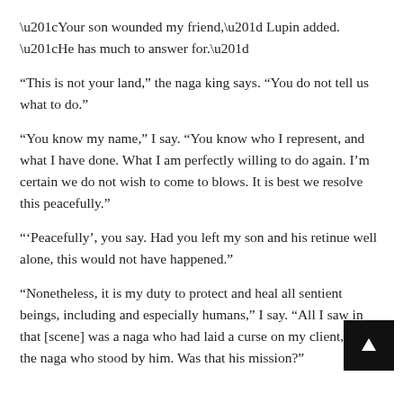“Your son wounded my friend,” Lupin added. “He has much to answer for.”
“This is not your land,” the naga king says. “You do not tell us what to do.”
“You know my name,” I say. “You know who I represent, and what I have done. What I am perfectly willing to do again. I’m certain we do not wish to come to blows. It is best we resolve this peacefully.”
“‘Peacefully’, you say. Had you left my son and his retinue well alone, this would not have happened.”
“Nonetheless, it is my duty to protect and heal all sentient beings, including and especially humans,” I say. “All I saw in that [scene] was a naga who had laid a curse on my client, and the naga who stood by him. Was that his mission?”